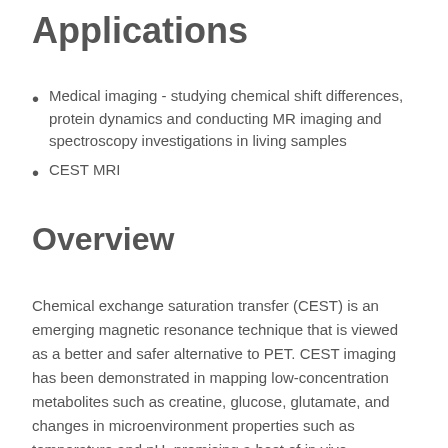Applications
Medical imaging - studying chemical shift differences, protein dynamics and conducting MR imaging and spectroscopy investigations in living samples
CEST MRI
Overview
Chemical exchange saturation transfer (CEST) is an emerging magnetic resonance technique that is viewed as a better and safer alternative to PET. CEST imaging has been demonstrated in mapping low-concentration metabolites such as creatine, glucose, glutamate, and changes in microenvironment properties such as temperature and pH, promising a host of in vivo application such as imaging of ischemic stroke and